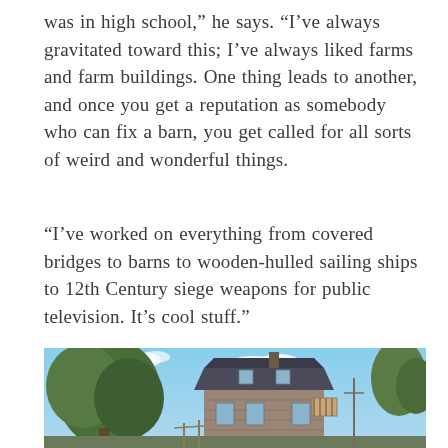was in high school,” he says. “I’ve always gravitated toward this; I’ve always liked farms and farm buildings. One thing leads to another, and once you get a reputation as somebody who can fix a barn, you get called for all sorts of weird and wonderful things.
“I’ve worked on everything from covered bridges to barns to wooden-hulled sailing ships to 12th Century siege weapons for public television. It’s cool stuff.”
[Figure (photo): Outdoor photograph of a historic stone building with a mansard roof and a balcony under construction, surrounded by large trees with a blue sky and clouds in the background.]